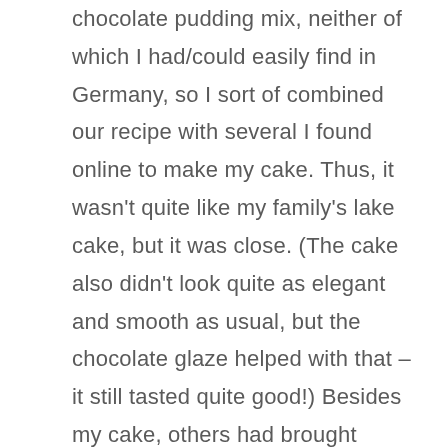chocolate pudding mix, neither of which I had/could easily find in Germany, so I sort of combined our recipe with several I found online to make my cake. Thus, it wasn't quite like my family's lake cake, but it was close. (The cake also didn't look quite as elegant and smooth as usual, but the chocolate glaze helped with that – it still tasted quite good!) Besides my cake, others had brought cakes, banana bread, cookies, Spekulatius, Magenbrot, chocolate-covered gingerbread hearts, and other sweet German Christmas treats. My cake was well quite well received – in fact, it was the only item on the table to be completely gone by the end of the